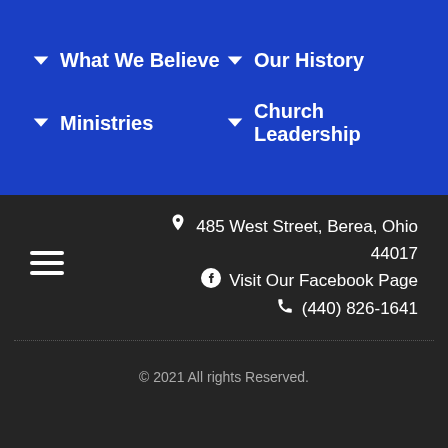↓ What We Believe
↓ Our History
↓ Ministries
↓ Church Leadership
485 West Street, Berea, Ohio 44017
Visit Our Facebook Page
(440) 826-1641
© 2021 All rights Reserved.